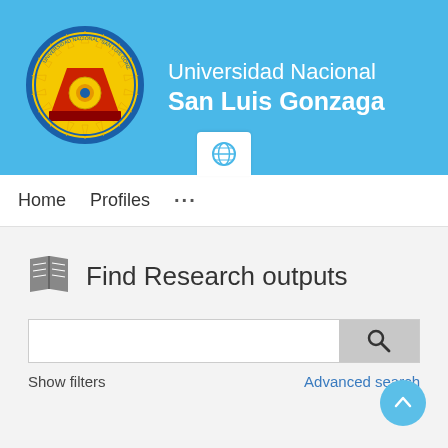[Figure (logo): Universidad Nacional San Luis Gonzaga university crest/logo with yellow sun, red trapezoid, and circular text around the border]
Universidad Nacional San Luis Gonzaga
Home   Profiles   ...
Find Research outputs
Show filters
Advanced search